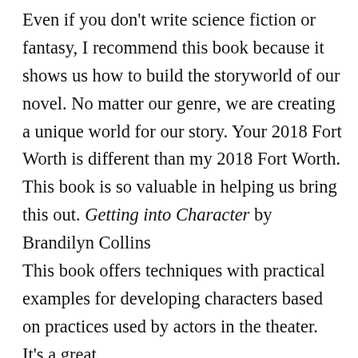Even if you don't write science fiction or fantasy, I recommend this book because it shows us how to build the storyworld of our novel. No matter our genre, we are creating a unique world for our story. Your 2018 Fort Worth is different than my 2018 Fort Worth. This book is so valuable in helping us bring this out. Getting into Character by Brandilyn Collins
This book offers techniques with practical examples for developing characters based on practices used by actors in the theater. It's a great